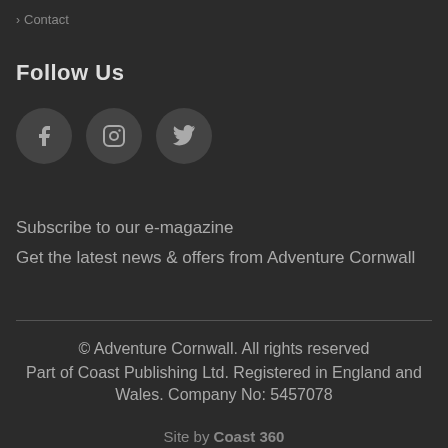> Contact
Follow Us
[Figure (illustration): Three circular social media icon buttons: Facebook (f), Instagram (camera icon), Twitter (bird icon) on a dark background]
Subscribe to our e-magazine
Get the latest news & offers from Adventure Cornwall
© Adventure Cornwall. All rights reserved
Part of Coast Publishing Ltd. Registered in England and Wales. Company No: 5457078
Site by Coast 360